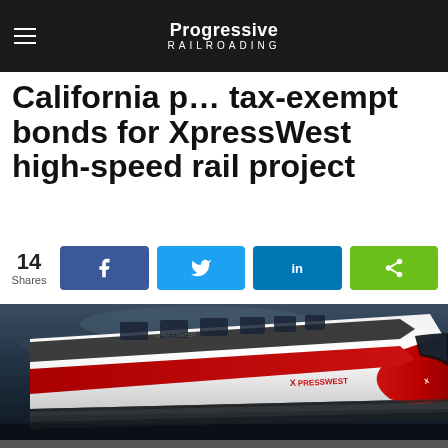Progressive Railroading
California p... tax-exempt bonds for XpressWest high-speed rail project
14 Shares
[Figure (photo): Rendering of XpressWest high-speed train — white and red bullet train nose viewed at angle, with XPRESSWEST logo, against a dramatic dark sky background.]